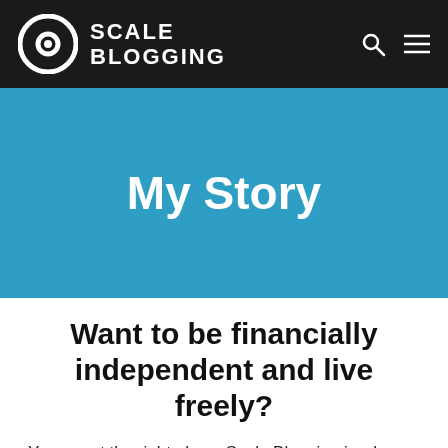SCALE BLOGGING
My Story
Want to be financially independent and live freely?
You are at the right place. Scale Blogging is where you can learn and implement various proven tactics